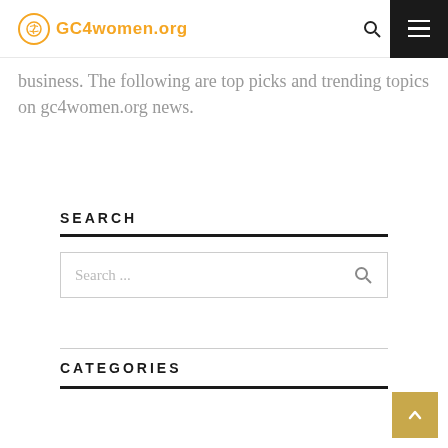GC4women.org
business. The following are top picks and trending topics on gc4women.org news.
SEARCH
[Figure (screenshot): Search input box with placeholder text 'Search ...' and a search icon on the right]
CATEGORIES